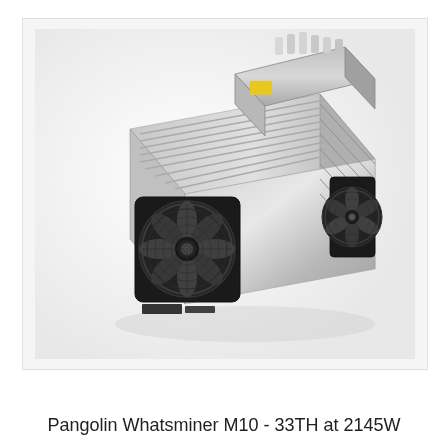[Figure (photo): Pangolin Whatsminer M10 cryptocurrency mining device — a rectangular metal ASIC miner with large black fan on the front face, silver aluminum heatsink fins along the body, power supply unit on top with cable connectors, photographed at an angle on white/light gray background.]
Pangolin Whatsminer M10 - 33TH at 2145W